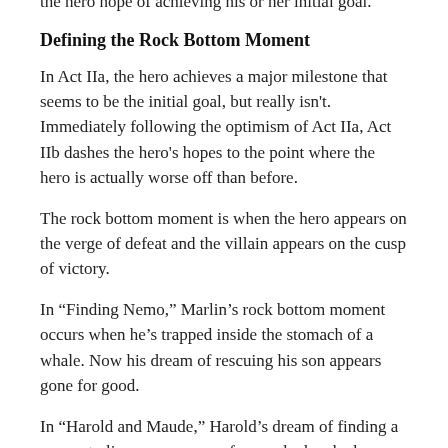the hero hope of achieving his or her initial goal.
Defining the Rock Bottom Moment
In Act IIa, the hero achieves a major milestone that seems to be the initial goal, but really isn't. Immediately following the optimism of Act IIa, Act IIb dashes the hero's hopes to the point where the hero is actually worse off than before.
The rock bottom moment is when the hero appears on the verge of defeat and the villain appears on the cusp of victory.
In “Finding Nemo,” Marlin’s rock bottom moment occurs when he’s trapped inside the stomach of a whale. Now his dream of rescuing his son appears gone for good.
In “Harold and Maude,” Harold’s dream of finding a reason to live appears gone for good when he learns that Maude, the woman he wants to marry, has just taken pills to commit suicide.